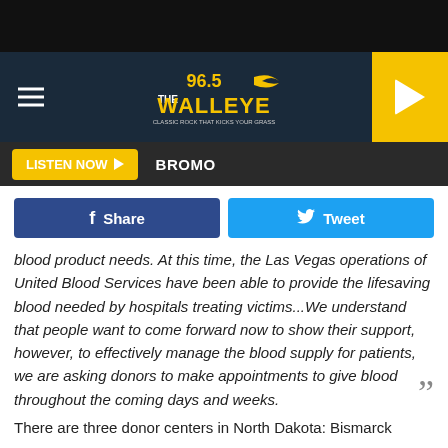[Figure (screenshot): 96.5 The Walleye radio station website header with hamburger menu, logo, and yellow play button]
LISTEN NOW  BROMO
[Figure (infographic): Facebook Share and Twitter Tweet social media buttons]
blood product needs. At this time, the Las Vegas operations of United Blood Services have been able to provide the lifesaving blood needed by hospitals treating victims...We understand that people want to come forward now to show their support, however, to effectively manage the blood supply for patients, we are asking donors to make appointments to give blood throughout the coming days and weeks.
There are three donor centers in North Dakota: Bismarck